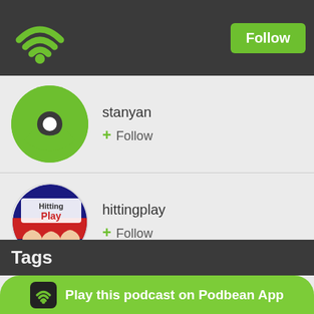[Figure (logo): Podbean WiFi/podcast icon in green on dark header bar]
Follow
[Figure (logo): Stanyan user avatar - green circular logo with dark inner circle and white dot]
stanyan
+ Follow
[Figure (logo): Hittingplay podcast avatar - circular logo with 'Hitting Play' text and cartoon figures]
hittingplay
+ Follow
[Figure (photo): Christokeller avatar - circular photo of a guitar/stringed instrument neck]
christokeller
+ Follow
More...
Tags
Play this podcast on Podbean App